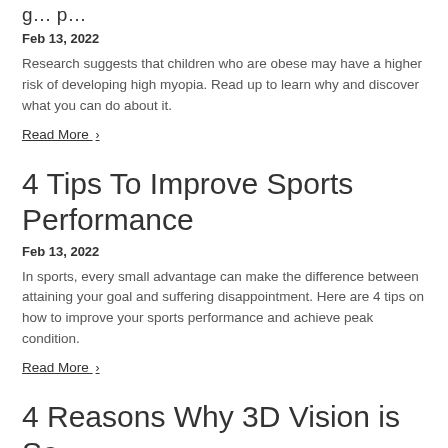4 Tips To Improve Sports Performance
Feb 13, 2022
Research suggests that children who are obese may have a higher risk of developing high myopia. Read up to learn why and discover what you can do about it.
Read More ›
4 Tips To Improve Sports Performance
Feb 13, 2022
In sports, every small advantage can make the difference between attaining your goal and suffering disappointment. Here are 4 tips on how to improve your sports performance and achieve peak condition.
Read More ›
4 Reasons Why 3D Vision is So